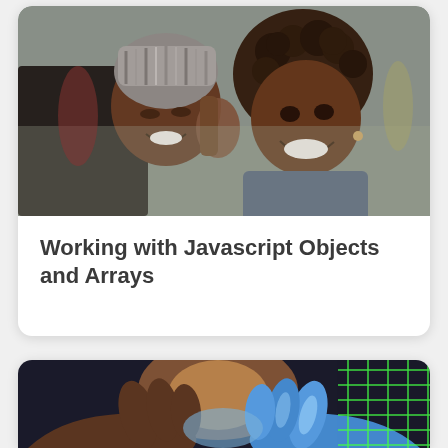[Figure (photo): Two Black women smiling and embracing outdoors on a city street. One has braided hair and the other has natural curly hair. Street/urban background.]
Working with Javascript Objects and Arrays
[Figure (photo): Handshake between a human hand and a glowing blue robotic/digital hand, with a green grid overlay visible on the right side. Dark background with warm light in center.]